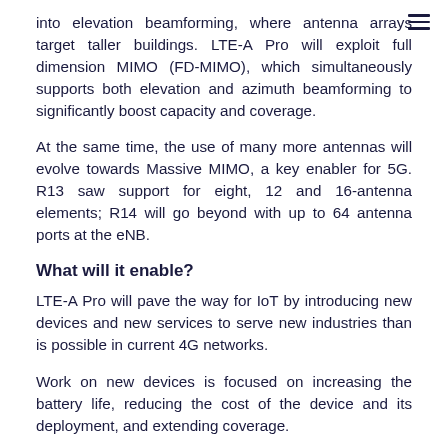into elevation beamforming, where antenna arrays target taller buildings. LTE-A Pro will exploit full dimension MIMO (FD-MIMO), which simultaneously supports both elevation and azimuth beamforming to significantly boost capacity and coverage.
At the same time, the use of many more antennas will evolve towards Massive MIMO, a key enabler for 5G. R13 saw support for eight, 12 and 16-antenna elements; R14 will go beyond with up to 64 antenna ports at the eNB.
What will it enable?
LTE-A Pro will pave the way for IoT by introducing new devices and new services to serve new industries than is possible in current 4G networks.
Work on new devices is focused on increasing the battery life, reducing the cost of the device and its deployment, and extending coverage.